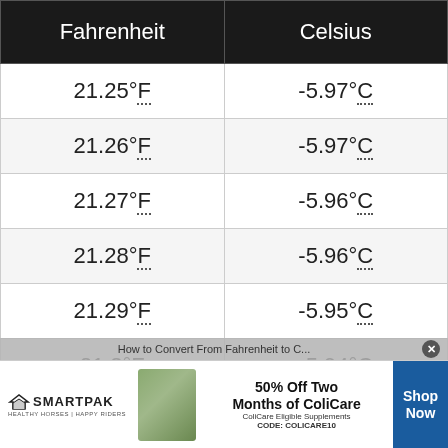| Fahrenheit | Celsius |
| --- | --- |
| 21.25°F | -5.97°C |
| 21.26°F | -5.97°C |
| 21.27°F | -5.96°C |
| 21.28°F | -5.96°C |
| 21.29°F | -5.95°C |
| 21.3°F | -5.94°C |
| 21.31°F | -5.94°C |
[Figure (infographic): SmartPak advertisement banner: 50% Off Two Months of ColiCare, ColiCare Eligible Supplements, CODE: COLICARE10, Shop Now button]